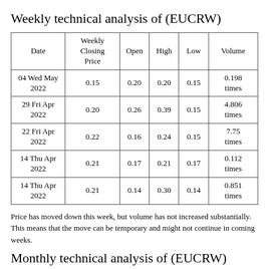Weekly technical analysis of (EUCRW)
| Date | Weekly Closing Price | Open | High | Low | Volume |
| --- | --- | --- | --- | --- | --- |
| 04 Wed May 2022 | 0.15 | 0.20 | 0.20 | 0.15 | 0.198 times |
| 29 Fri Apr 2022 | 0.20 | 0.26 | 0.39 | 0.15 | 4.806 times |
| 22 Fri Apr 2022 | 0.22 | 0.16 | 0.24 | 0.15 | 7.75 times |
| 14 Thu Apr 2022 | 0.21 | 0.17 | 0.21 | 0.17 | 0.112 times |
| 14 Thu Apr 2022 | 0.21 | 0.14 | 0.30 | 0.14 | 0.851 times |
Price has moved down this week, but volume has not increased substantially. This means that the move can be temporary and might not continue in coming weeks.
Monthly technical analysis of (EUCRW)
| Date | Monthly Closing Price | Open | High | Low | Volume |
| --- | --- | --- | --- | --- | --- |